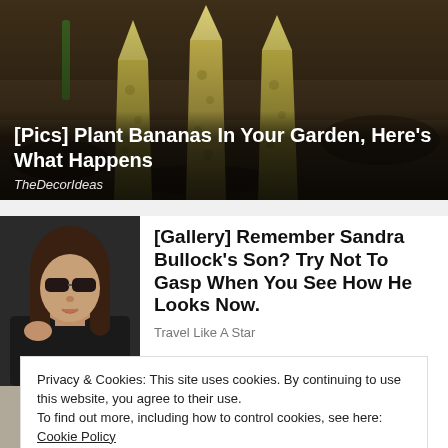[Figure (photo): Photo of banana plant shoots emerging from dark soil, garden setting]
[Pics] Plant Bananas In Your Garden, Here's What Happens
TheDecorIdeas
[Figure (photo): Photo of a woman with dark hair and sunglasses (Sandra Bullock)]
[Gallery] Remember Sandra Bullock's Son? Try Not To Gasp When You See How He Looks Now.
Travel Like A Star
Privacy & Cookies: This site uses cookies. By continuing to use this website, you agree to their use.
To find out more, including how to control cookies, see here: Cookie Policy
Close and accept
TheDecorIdeas